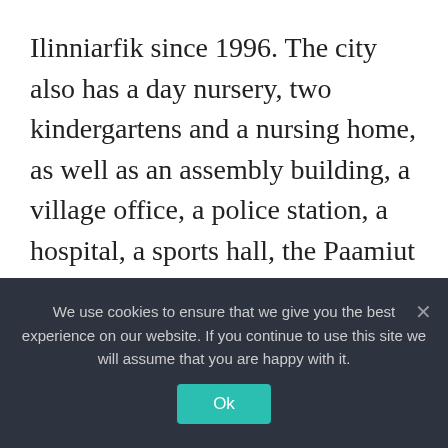Ilinniarfik since 1996. The city also has a day nursery, two kindergartens and a nursing home, as well as an assembly building, a village office, a police station, a hospital, a sports hall, the Paamiut Museum, a hotel and the church from 1909, which is reminiscent of the Norwegian architectural style Stave churches is ajar.
Sport
We use cookies to ensure that we give you the best experience on our website. If you continue to use this site we will assume that you are happy with it.